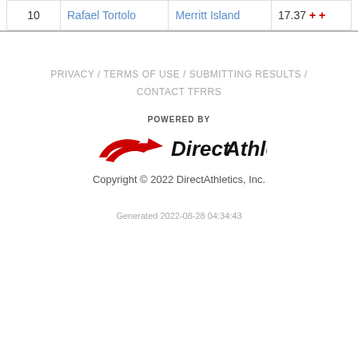| 10 | Rafael Tortolo | Merritt Island | 17.37 + + |
PRIVACY / TERMS OF USE / SUBMITTING RESULTS / CONTACT TFRRS
[Figure (logo): POWERED BY DirectAthletics logo with red swoosh icon]
Copyright © 2022 DirectAthletics, Inc.
Generated 2022-08-28 04:34:43